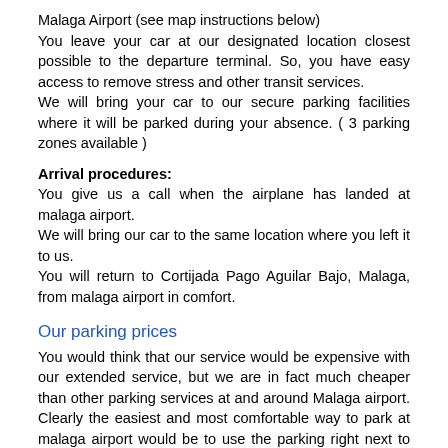Malaga Airport (see map instructions below)
You leave your car at our designated location closest possible to the departure terminal. So, you have easy access to remove stress and other transit services.
We will bring your car to our secure parking facilities where it will be parked during your absence. ( 3 parking zones available )
Arrival procedures:
You give us a call when the airplane has landed at malaga airport.
We will bring our car to the same location where you left it to us.
You will return to Cortijada Pago Aguilar Bajo, Malaga, from malaga airport in comfort.
Our parking prices
You would think that our service would be expensive with our extended service, but we are in fact much cheaper than other parking services at and around Malaga airport. Clearly the easiest and most comfortable way to park at malaga airport would be to use the parking right next to the terminal. But of course, it is very expensive. So, our solution is valet parking